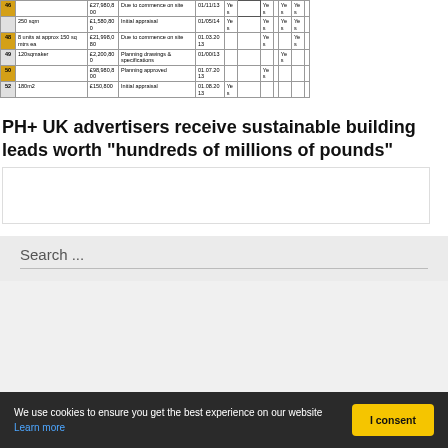| 46 | £27,980,800 | Due to commence on site | 01/11/13 | Yes |  | Yes |  | Yes | Yes |  |
|  | 250 sqm | £1,580,800 | Initial appraisal | 01/05/14 | Yes |  | Yes |  | Yes | Yes |
| 48 |  | 8 units at approx 150 sq mtrs ea | £21,998,080 | Due to commence on site | 01.03.2013 |  |  | Yes |  |  | Yes |
| 49 | 120sqmaker | £2,200,800 | Planning drawings & specifications | 01/00/13 |  |  |  |  | Yes |  |
| 50 |  | £98,980,800 | Planning approved | 01.07.2013 |  |  | Yes |  |  |  |
| 52 | 180m2 | £150,800 | Initial appraisal | 01.08.2013 | Yes |  |  |  |  |  |
PH+ UK advertisers receive sustainable building leads worth "hundreds of millions of pounds"
Search ...
We use cookies to ensure you get the best experience on our website Learn more